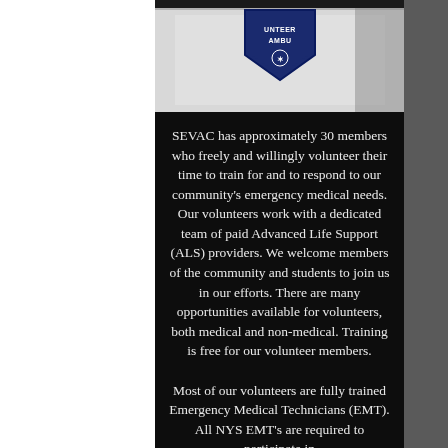[Figure (photo): Close-up photo of a white ambulance vehicle door with a dark blue shield-shaped badge reading 'VOLUNTEER AMBU...' (volunteer ambulance emblem)]
SEVAC has approximately 30 members who freely and willingly volunteer their time to train for and to respond to our community's emergency medical needs. Our volunteers work with a dedicated team of paid Advanced Life Support (ALS) providers. We welcome members of the community and students to join us in our efforts. There are many opportunities available for volunteers, both medical and non-medical. Training is free for our volunteer members.
Most of our volunteers are fully trained Emergency Medical Technicians (EMT). All NYS EMT's are required to participate in